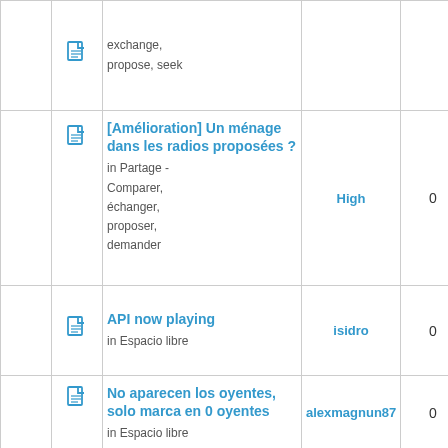|  |  | Title/Category | Author | Replies | Views |
| --- | --- | --- | --- | --- | --- |
|  | doc | exchange,
propose, seek |  |  |  |
|  | doc | [Amélioration] Un ménage dans les radios proposées ?
in Partage - Comparer, échanger, proposer, demander | High | 0 | 63846 |
|  | doc | API now playing
in Espacio libre | isidro | 0 | 7285 |
|  | doc | No aparecen los oyentes, solo marca en 0 oyentes
in Espacio libre | alexmagnun87 | 0 | 7560 |